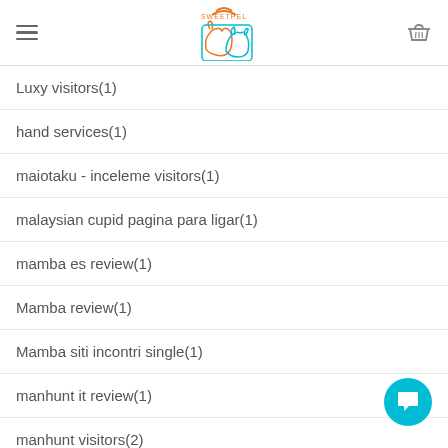Sweetpel logo with hamburger menu and basket icon
Luxy visitors(1)
hand services(1)
maiotaku - inceleme visitors(1)
malaysian cupid pagina para ligar(1)
mamba es review(1)
Mamba review(1)
Mamba siti incontri single(1)
manhunt it review(1)
manhunt visitors(2)
married hookup apps hookuphotties search(1)